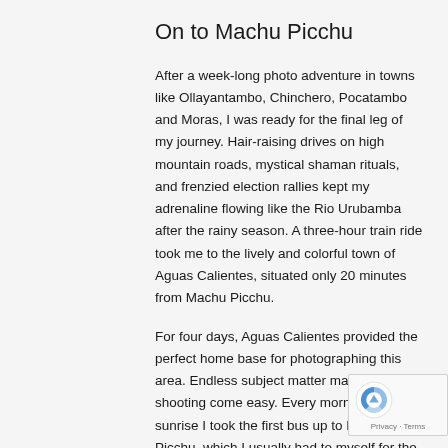On to Machu Picchu
After a week-long photo adventure in towns like Ollayantambo, Chinchero, Pocatambo and Moras, I was ready for the final leg of my journey. Hair-raising drives on high mountain roads, mystical shaman rituals, and frenzied election rallies kept my adrenaline flowing like the Rio Urubamba after the rainy season. A three-hour train ride took me to the lively and colorful town of Aguas Calientes, situated only 20 minutes from Machu Picchu.
For four days, Aguas Calientes provided the perfect home base for photographing this area. Endless subject matter makes the shooting come easy. Every morning before sunrise I took the first bus up to Machu Picchu, which I usually had to myself for the first couple of hours. Then I'd hike the Inca Trail for most of the day, returning to Machu Picchu late in the day to shoot under different lighting conditions.
A flexible itinerary is beneficial for trips like these, and provides the freedom to remain at a location as long as necessary to get the photographs you desire.